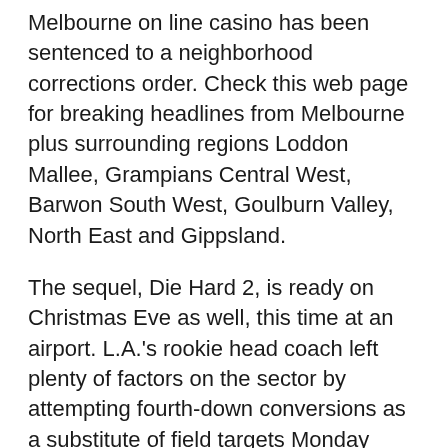Melbourne on line casino has been sentenced to a neighborhood corrections order. Check this web page for breaking headlines from Melbourne plus surrounding regions Loddon Mallee, Grampians Central West, Barwon South West, Goulburn Valley, North East and Gippsland.
The sequel, Die Hard 2, is ready on Christmas Eve as well, this time at an airport. L.A.'s rookie head coach left plenty of factors on the sector by attempting fourth-down conversions as a substitute of field targets Monday night. It may have cost his staff the sport, but his gamers love the aggressive mindset he is establishing. The partnership contains Bally's on-line sportsbook, Bally Bet, becoming the title sponsor of MLF's coveted Angler of the Year Award for the Bass Pro Tour, the sport's most seen and